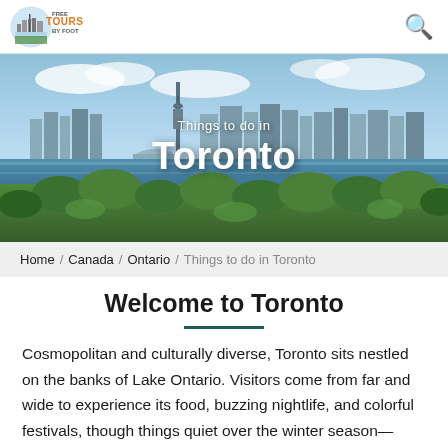[Figure (logo): Free Tours by Foot logo — circular badge with city illustration and text]
[Figure (photo): Panoramic photo of Toronto skyline from the water with green parkland in foreground, CN Tower visible, blue sky and lake]
Things to do in Toronto
Home / Canada / Ontario / Things to do in Toronto
Welcome to Toronto
Cosmopolitan and culturally diverse, Toronto sits nestled on the banks of Lake Ontario. Visitors come from far and wide to experience its food, buzzing nightlife, and colorful festivals, though things quiet over the winter season— Learn more